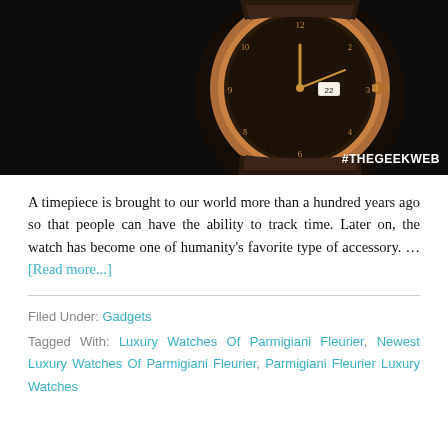[Figure (photo): Close-up photo of a luxury rose gold watch with dark dial and leather strap on black background, with watermark text #THEGEEKWEB in bottom right corner]
A timepiece is brought to our world more than a hundred years ago so that people can have the ability to track time. Later on, the watch has become one of humanity's favorite type of accessory. … [Read more...]
Filed Under: Gadgets
Tagged With: Luxury Watches Of Parmigiani Fleurier, Newest Luxury Watches Of Parmigiani Fleurier, Parmigiani Fleurier Luxury Watches